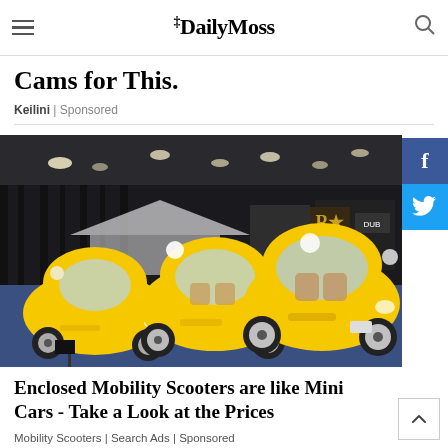The Daily Moss
Cams for This.
Keilini | Sponsored
[Figure (photo): Three yellow enclosed mobility scooters resembling tiny cars on display at an indoor auto show. The vehicles have rounded bubble-shaped bodies, large curved windshields, and spoke wheels. They are parked on a blue floor in a large convention hall with black curtain backdrops and various exhibit booths visible in the background.]
Enclosed Mobility Scooters are like Mini Cars - Take a Look at the Prices
Mobility Scooters | Search Ads | Sponsored